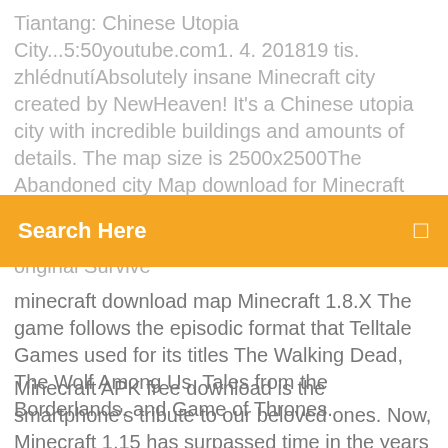Tiantang: Chinese Utopia City...5:50youtube.com1. 4. 201819 tis. zhlédnutíAbsolutely insane Minecraft city created by NewHeaven! It's a Chinese utopia city with incredible buildings and amounts of details. The map size is 2500x2500The Abandoned city Map download for Minecraft 1.8.Xhttps://skins-minecraft.net/maps/chernobilThe map in the original Survive
Search Here
minecraft download map Minecraft 1.8.X The game follows the episodic format that Telltale Games used for its titles The Walking Dead, The Wolf Among Us, Tales from the Borderlands, and Game of Thrones.
Minecraft APK free download is the smartphone's tribute to our beloved ones. Now, Minecraft 1.15 has surpassed time in the years it has reigned. Andy is the best Android emulator available. Andy provides an easy way to download and install